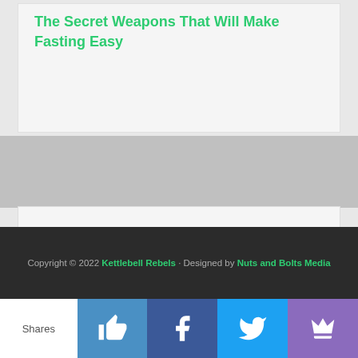The Secret Weapons That Will Make Fasting Easy
SPREAD THE LOVE :) ... OR ELSE!
Copyright © 2022 Kettlebell Rebels · Designed by Nuts and Bolts Media
Shares
[Figure (infographic): Social sharing bar with Shares label, thumbs up (blue), Facebook (dark blue), Twitter (light blue), and email/crown (purple) buttons]